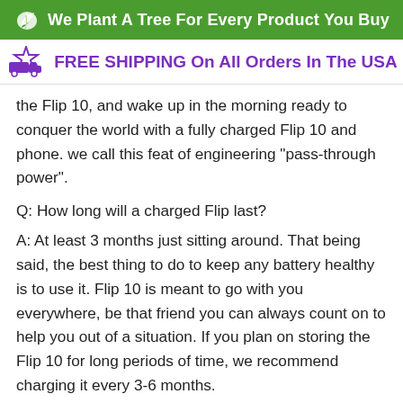We Plant A Tree For Every Product You Buy
FREE SHIPPING On All Orders In The USA
the Flip 10, and wake up in the morning ready to conquer the world with a fully charged Flip 10 and phone. we call this feat of engineering "pass-through power".
Q: How long will a charged Flip last?
A: At least 3 months just sitting around. That being said, the best thing to do to keep any battery healthy is to use it. Flip 10 is meant to go with you everywhere, be that friend you can always count on to help you out of a situation. If you plan on storing the Flip 10 for long periods of time, we recommend charging it every 3-6 months.
Q: Is the Flip 10 compatible with the Nomad Solar Panels?